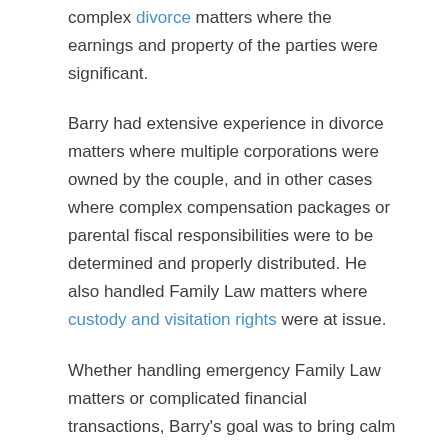represented high net worth individuals in complex divorce matters where the earnings and property of the parties were significant.
Barry had extensive experience in divorce matters where multiple corporations were owned by the couple, and in other cases where complex compensation packages or parental fiscal responsibilities were to be determined and properly distributed. He also handled Family Law matters where custody and visitation rights were at issue.
Whether handling emergency Family Law matters or complicated financial transactions, Barry's goal was to bring calm to the chaotic world of Family Law for our clients, some of whom include the following professionals or their spouses: